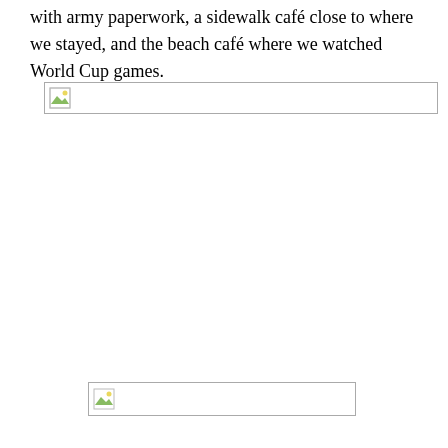with army paperwork, a sidewalk café close to where we stayed, and the beach café where we watched World Cup games.
[Figure (photo): Broken image placeholder (wide horizontal image, failed to load)]
[Figure (photo): Broken image placeholder (medium horizontal image, failed to load)]